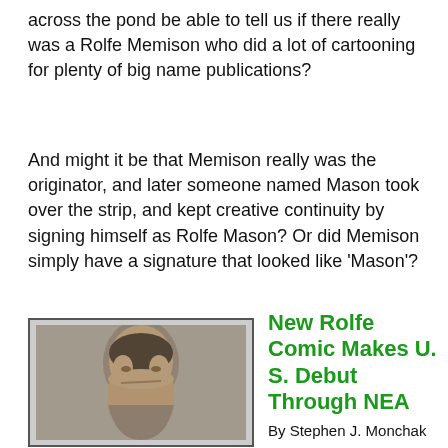across the pond be able to tell us if there really was a Rolfe Memison who did a lot of cartooning for plenty of big name publications?
And might it be that Memison really was the originator, and later someone named Mason took over the strip, and kept creative continuity by signing himself as Rolfe Mason? Or did Memison simply have a signature that looked like 'Mason'?
[Figure (photo): Black and white portrait photo of a man shown in profile/three-quarter view]
New Rolfe Comic Makes U. S. Debut Through NEA
By Stephen J. Monchak
A new Sunday comic, "Brenda Breeze," a half-page in pantomime by Rolfe Memison, Continental humorous